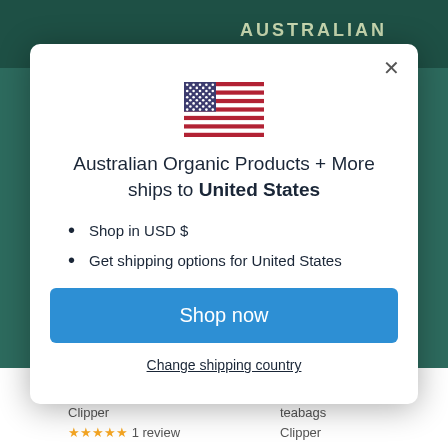AUSTRALIAN
[Figure (illustration): US flag emoji displayed at top of modal dialog]
Australian Organic Products + More ships to United States
Shop in USD $
Get shipping options for United States
Shop now
Change shipping country
Clipper
1 review
teabags
Clipper